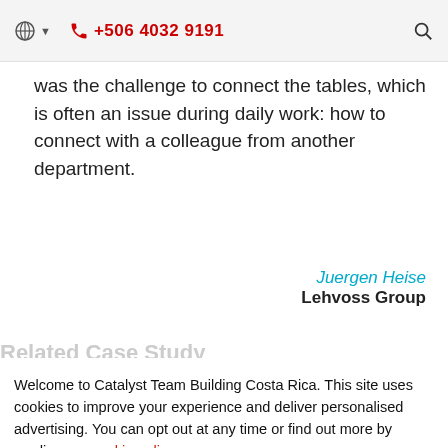+506 4032 9191
was the challenge to connect the tables, which is often an issue during daily work: how to connect with a colleague from another department.
Juergen Heise
Lehvoss Group
Related Case Study
Welcome to Catalyst Team Building Costa Rica. This site uses cookies to improve your experience and deliver personalised advertising. You can opt out at any time or find out more by reading our cookie policy.